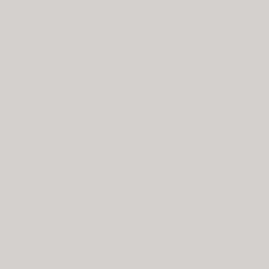resource databa... mineral rights ... gazette of natio... their location in... other informati... shall be include...
This Act shall g... resources.
No ancestral l... indigenous cultu...